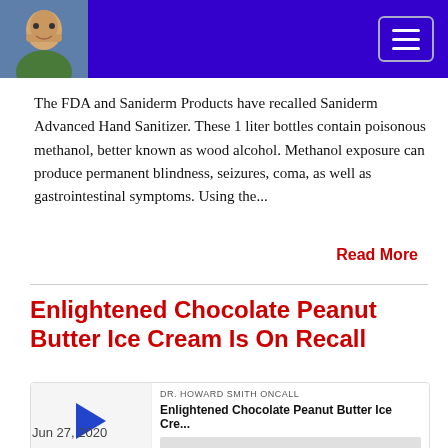Dr. Howard Smith OnCall - navigation header with photo and hamburger menu
The FDA and Saniderm Products have recalled Saniderm Advanced Hand Sanitizer.  These 1 liter bottles contain poisonous methanol, better known as wood alcohol.  Methanol exposure can produce permanent blindness, seizures, coma, as well as gastrointestinal symptoms.  Using the...
Read More
Enlightened Chocolate Peanut Butter Ice Cream Is On Recall
[Figure (other): Podcast player widget showing DR. HOWARD SMITH ONCALL label, title 'Enlightened Chocolate Peanut Butter Ice Cre...', play button, progress bar, time 00:00:00, and media control icons]
Jun 27, 2020